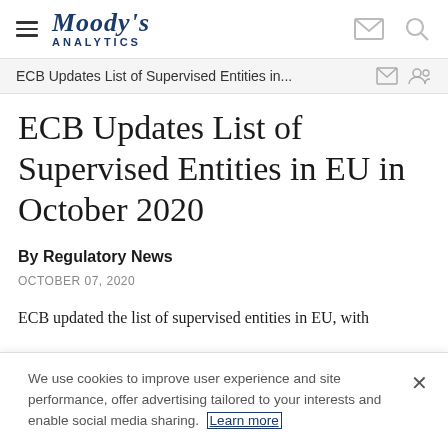[Figure (logo): Moody's Analytics logo with hamburger menu icon on left and envelope/search icons on right]
ECB Updates List of Supervised Entities in...
ECB Updates List of Supervised Entities in EU in October 2020
By Regulatory News
OCTOBER 07, 2020
ECB updated the list of supervised entities in EU, with
We use cookies to improve user experience and site performance, offer advertising tailored to your interests and enable social media sharing. Learn more